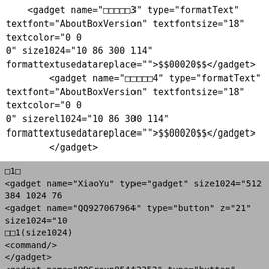<gadget name="□□□□□3" type="formatText" textfont="AboutBoxVersion" textfontsize="18" textcolor="0 0 0" size1024="10 86 300 114" formattextusedatareplace="">$$00020$$</gadget>
<gadget name="□□□□□4" type="formatText" textfont="AboutBoxVersion" textfontsize="18" textcolor="0 0 0" sizerel1024="10 86 300 114" formattextusedatareplace="">$$00020$$</gadget>
</gadget>
□1□
<gadget name="XiaoYu" type="gadget" size1024="512 384 1024 76...
<gadget name="QQ927067964" type="button" z="21" size1024="10...
□□1(size1024)
<command/>
</gadget>
<gadget name="QQGroup85442352" type="button" z="21" sizerel1...
□□1(sizerel1024)
<command/>
</gadget>
<gadget name="Text1" type="formatText" textfont="AboutBoxVers...
<gadget name="Text2" type="formatText" textfont="AboutBoxVers...
/gadget>